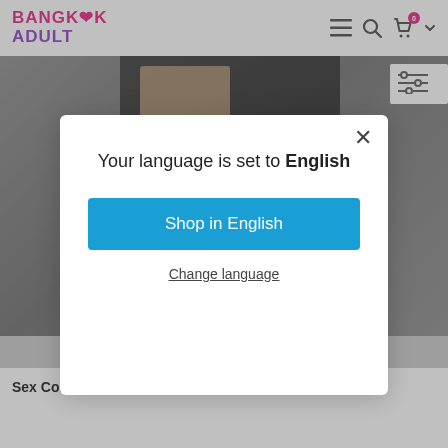BANGKOK ADULT
[Figure (photo): Partial view of a black leather BDSM restraint product with buckle, on a gray background]
Your language is set to English
Shop in English
Change language
Sex Collar Mask Soft Faux Leather Bed BDSM Restraint